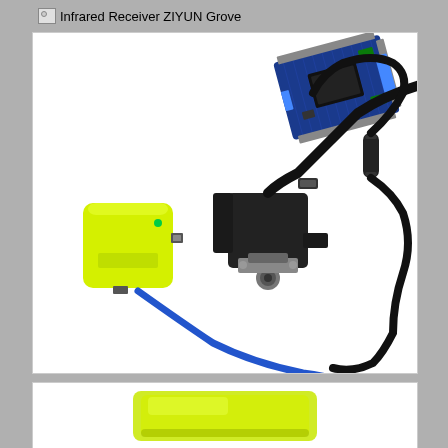Infrared Receiver ZIYUN Grove
[Figure (photo): Product photo showing electronics kit: a blue PCB shield/controller board (top right), a yellow compact device with USB cable (left), a black stepper motor or similar component with a long coiled black cable with ferrite choke (center-right), and a short blue USB cable connecting components.]
[Figure (photo): Partial view of a yellow-green translucent plastic case or packaging at the bottom of the page.]